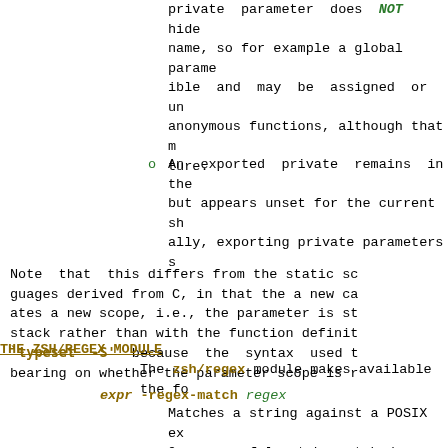private  parameter  does  NOT  hide name, so for example a global parameter is visible and may be assigned or unset in anonymous functions, although that may change in the future.
An  exported  private  remains  in  the environment but appears unset for the current shell. Generally, exporting private parameters should be avoided.
Note  that  this  differs  from  the  static scoping of languages derived from C, in that the a new call creates a new scope, i.e., the parameter is stored on the call stack rather than with the function definition. Note also `typeset  -S'  because  the  syntax  used  to define a function has a bearing on whether the parameter scope is respected.
THE ZSH/REGEX MODULE
The zsh/regex module makes available the following:
expr -regex-match regex
Matches a string against a POSIX  extended regular expression. On successful match, matched portions of the string will be placed in the MATCH variable.  If there are any parentheses within the regex, then the array variable match will contain those.  If the match is not successful, none of these variables will not be altered.